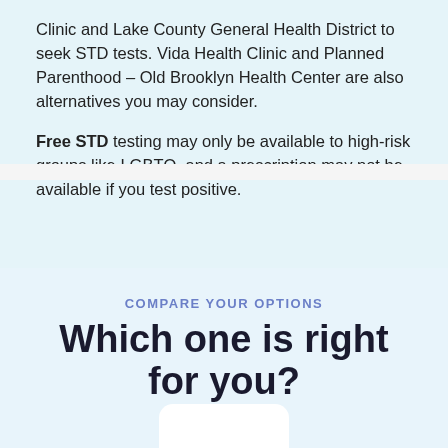Clinic and Lake County General Health District to seek STD tests. Vida Health Clinic and Planned Parenthood – Old Brooklyn Health Center are also alternatives you may consider.
Free STD testing may only be available to high-risk groups like LGBTQ, and a prescription may not be available if you test positive.
COMPARE YOUR OPTIONS
Which one is right for you?